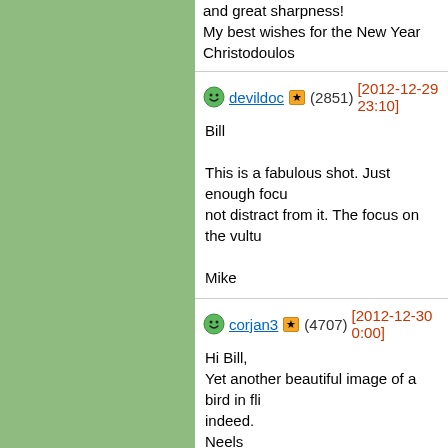and great sharpness!
My best wishes for the New Year
Christodoulos
devildoc (2851) [2012-12-29 23:10]
Bill

This is a fabulous shot. Just enough focus not distract from it. The focus on the vultu...

Mike
corjan3 (4707) [2012-12-30 0:00]
Hi Bill,
Yet another beautiful image of a bird in fli...
indeed.
Neels
PeterZ (49139) [2012-12-30 0:43]
Hello Bill,
Excellent photo of this Black Vulture in gr...
Good timing.
Wish you and your loved ones a Happy a...
Regards,
Peter
Miss_Piggy (18714) [2012-12-30 1:32]
Hallo Bill,